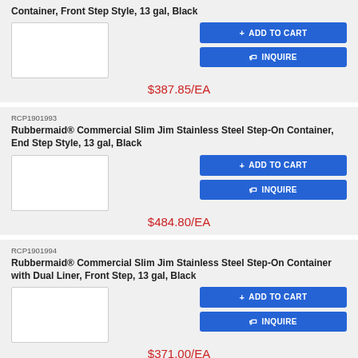Container, Front Step Style, 13 gal, Black
$387.85/EA
RCP1901993
Rubbermaid® Commercial Slim Jim Stainless Steel Step-On Container, End Step Style, 13 gal, Black
$484.80/EA
RCP1901994
Rubbermaid® Commercial Slim Jim Stainless Steel Step-On Container with Dual Liner, Front Step, 13 gal, Black
$371.00/EA